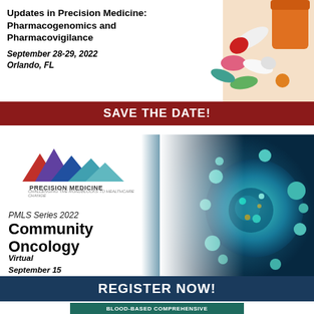Updates in Precision Medicine: Pharmacogenomics and Pharmacovigilance
September 28-29, 2022
Orlando, FL
[Figure (photo): Colorful pharmaceutical pills and capsules spilling from orange pill bottle]
SAVE THE DATE!
[Figure (logo): Precision Medicine Leaders Summit logo with mountain shapes in red, purple, blue and teal colors]
PMLS Series 2022
Community Oncology
Virtual
September 15
10am-2pm EST
[Figure (photo): 3D rendered teal/green cancer cell on blue gradient background]
REGISTER NOW!
BLOOD-BASED COMPREHENSIVE